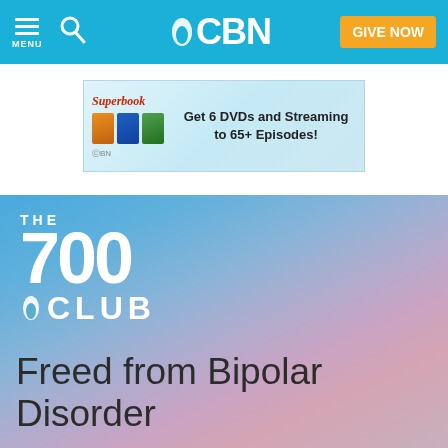CBN - MENU - GIVE NOW
[Figure (screenshot): Superbook advertisement banner: Get 6 DVDs and Streaming to 65+ Episodes! - CBN]
[Figure (logo): The 700 Club logo on gradient blue/pink sky background]
Freed from Bipolar Disorder